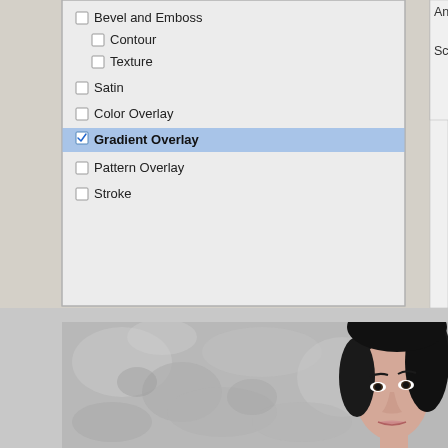[Figure (screenshot): Photoshop Layer Style panel showing left sidebar with layer effects list: Bevel and Emboss, Contour (indented), Texture (indented), Satin, Color Overlay, Gradient Overlay (selected/checked), Pattern Overlay, Stroke. Right side shows Angle control with dial and value 0, and Scale slider set to 100 with % sign.]
[Figure (photo): Portrait photo of a woman with dark hair against a mottled grey background, showing her face on the right side of the frame.]